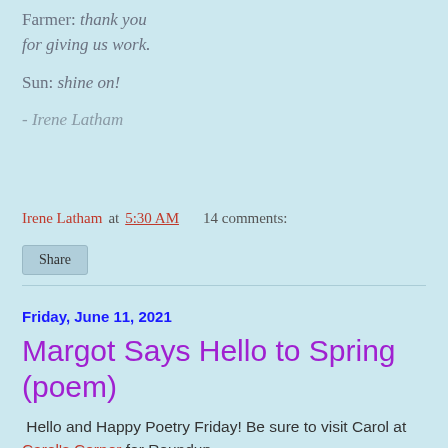Farmer: thank you for giving us work.
Sun: shine on!
- Irene Latham
Irene Latham at 5:30 AM    14 comments:
Share
Friday, June 11, 2021
Margot Says Hello to Spring (poem)
Hello and Happy Poetry Friday! Be sure to visit Carol at Carol's Corner for Roundup.